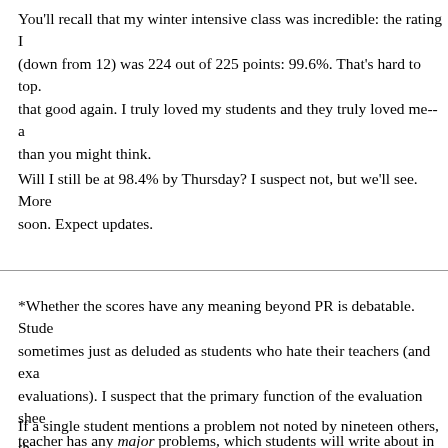You'll recall that my winter intensive class was incredible: the rating I (down from 12) was 224 out of 225 points: 99.6%. That's hard to top. that good again. I truly loved my students and they truly loved me-- a than you might think.
Will I still be at 98.4% by Thursday? I suspect not, but we'll see. More soon. Expect updates.
*Whether the scores have any meaning beyond PR is debatable. Stude sometimes just as deluded as students who hate their teachers (and exa evaluations). I suspect that the primary function of the evaluation shee teacher has any major problems, which students will write about in the
If a single student mentions a problem not noted by nineteen others, th